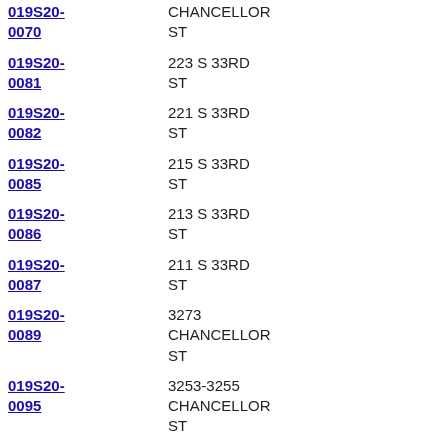019S20-0070 | CHANCELLOR ST
019S20-0081 | 223 S 33RD ST
019S20-0082 | 221 S 33RD ST
019S20-0085 | 215 S 33RD ST
019S20-0086 | 213 S 33RD ST
019S20-0087 | 211 S 33RD ST
019S20-0089 | 3273 CHANCELLOR ST
019S20-0095 | 3253-3255 CHANCELLOR ST
019S20-0100 | 3203 LOCUST ST
019S20-0101 | 3205 LOCUST ST